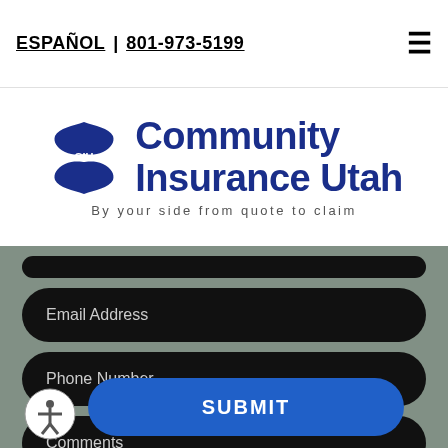ESPAÑOL | 801-973-5199
[Figure (logo): Community Insurance Utah logo with CIU shield/hands icon and tagline 'By your side from quote to claim']
Email Address
Phone Number
Comments
SUBMIT